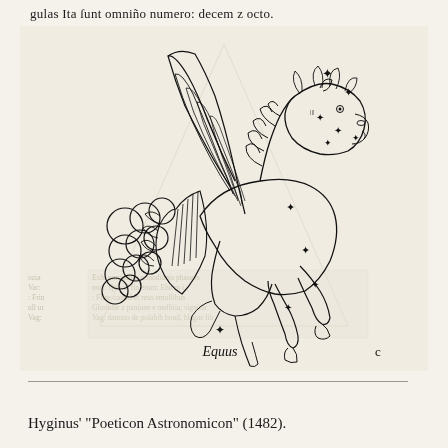gulas Ita sunt omnino numero: decem z octo.
[Figure (illustration): Medieval woodcut illustration of Pegasus (Equus), a winged horse with lion-like features, from Hyginus' Poeticon Astronomicon (1482). The creature has wings, a mane, and star markers (*) scattered across its body indicating constellation stars. A geometric triangle outline is faintly visible in the background. The label 'Equus' appears at the bottom center of the illustration, with the letter 'c' to the right. Faded Latin text is visible behind the lower portion of the figure.]
Hyginus' "Poeticon Astronomicon" (1482).